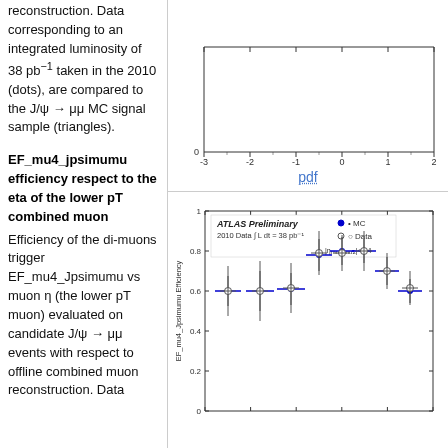reconstruction. Data corresponding to an integrated luminosity of 38 pb⁻¹ taken in the 2010 (dots), are compared to the J/ψ → μμ MC signal sample (triangles).
[Figure (continuous-plot): Top partial scatter plot showing x-axis from -3 to 2, y-axis from 0 upward. ATLAS data plot (partially shown).]
pdf
EF_mu4_jpsimumu efficiency respect to the eta of the lower pT combined muon
Efficiency of the di-muons trigger EF_mu4_Jpsimumu vs muon η (the lower pT muon) evaluated on candidate J/ψ → μμ events with respect to offline combined muon reconstruction. Data
[Figure (scatter-plot): Scatter plot showing EF_mu4_Jpsimumu Efficiency on y-axis (0 to 1) vs eta of lower pT combined muon on x-axis (-3 to 2). Blue filled circles = MC, open circles = Data. 2010 Data ∫L dt = 38 pb⁻¹. |η_mu1,mu2|<2.4. Data points around 0.6–0.8 efficiency across eta range.]